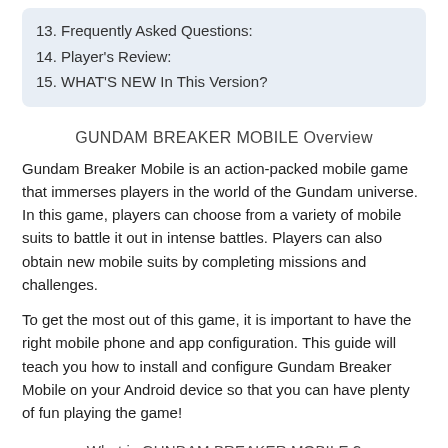13. Frequently Asked Questions:
14. Player's Review:
15. WHAT'S NEW In This Version?
GUNDAM BREAKER MOBILE Overview
Gundam Breaker Mobile is an action-packed mobile game that immerses players in the world of the Gundam universe. In this game, players can choose from a variety of mobile suits to battle it out in intense battles. Players can also obtain new mobile suits by completing missions and challenges.
To get the most out of this game, it is important to have the right mobile phone and app configuration. This guide will teach you how to install and configure Gundam Breaker Mobile on your Android device so that you can have plenty of fun playing the game!
What is GUNDAM BREAKER MOBILE ?
GUNDAM BREAKER MOBILE is a mobile game developed by Bandai